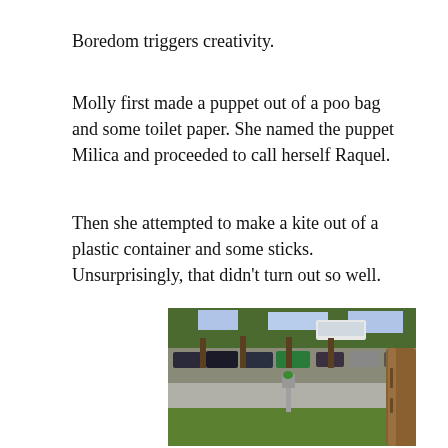Boredom triggers creativity.
Molly first made a puppet out of a poo bag and some toilet paper. She named the puppet Milica and proceeded to call herself Raquel.
Then she attempted to make a kite out of a plastic container and some sticks. Unsurprisingly, that didn't turn out so well.
[Figure (photo): Outdoor photo showing a parking lot with numerous cars and trees, a grassy area in the foreground with a metal trash/bin pole with a green bag, and a large tree trunk on the right side. A bus and trees are visible in the background.]